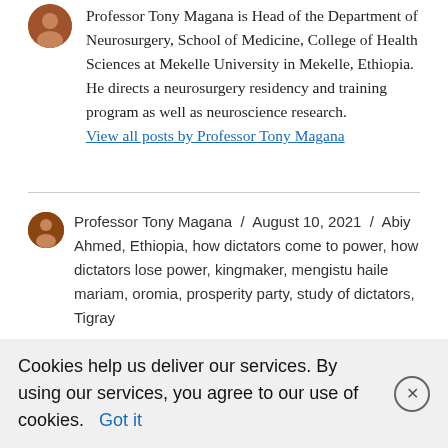Professor Tony Magana is Head of the Department of Neurosurgery, School of Medicine, College of Health Sciences at Mekelle University in Mekelle, Ethiopia. He directs a neurosurgery residency and training program as well as neuroscience research.
View all posts by Professor Tony Magana
Professor Tony Magana / August 10, 2021 / Abiy Ahmed, Ethiopia, how dictators come to power, how dictators lose power, kingmaker, mengistu haile mariam, oromia, prosperity party, study of dictators, Tigray
Leave a Reply
Cookies help us deliver our services. By using our services, you agree to our use of cookies. Got it